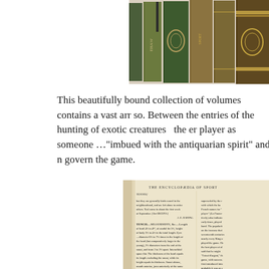[Figure (photo): Row of old bound books on a shelf, showing spines with gold lettering and decorative covers in green and brown tones.]
This beautifully bound collection of volumes contains a vast arr so. Between the entries of the hunting of exotic creatures  the er player as someone …"imbued with the antiquarian spirit" and n govern the game.
[Figure (photo): Open pages of The Encyclopaedia of Sport, showing entries for TENNIS and TENCH with detailed measurement text in a two-column layout on aged paper.]